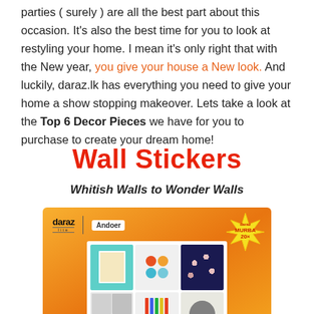parties (surely) are all the best part about this occasion. It's also the best time for you to look at restyling your home. I mean it's only right that with the New year, you give your house a New look. And luckily, daraz.lk has everything you need to give your home a show stopping makeover. Lets take a look at the Top 6 Decor Pieces we have for you to purchase to create your dream home!
Wall Stickers
Whitish Walls to Wonder Walls
[Figure (photo): Product image on orange gradient background showing daraz lite and Andoer branding, with a Daraz Murtoa starburst badge in the top right, and a white card showing product accessories including a teal frame, colorful circles, a floral navy bag, colorful stripes, and other items.]